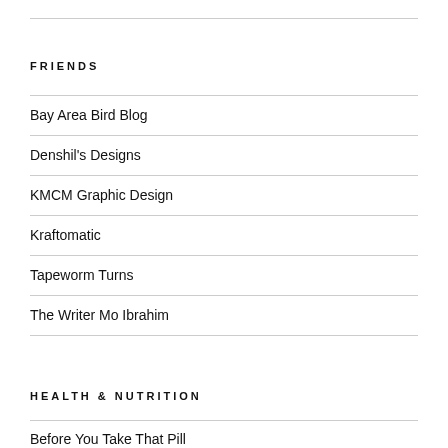FRIENDS
Bay Area Bird Blog
Denshil's Designs
KMCM Graphic Design
Kraftomatic
Tapeworm Turns
The Writer Mo Ibrahim
HEALTH & NUTRITION
Before You Take That Pill